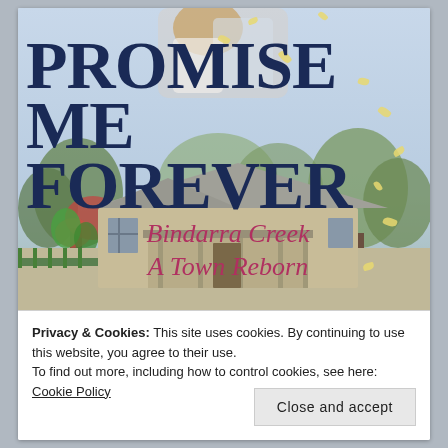[Figure (illustration): Book cover for 'Promise Me Forever - Bindarra Creek A Town Reborn'. Shows a couple embracing at the top, large dark blue serif title text 'PROMISE ME FOREVER', pink italic script subtitle 'Bindarra Creek A Town Reborn', and a photograph of an Australian country homestead with verandah, trees, and decorative yellow petals scattered throughout.]
Privacy & Cookies: This site uses cookies. By continuing to use this website, you agree to their use.
To find out more, including how to control cookies, see here: Cookie Policy
Close and accept